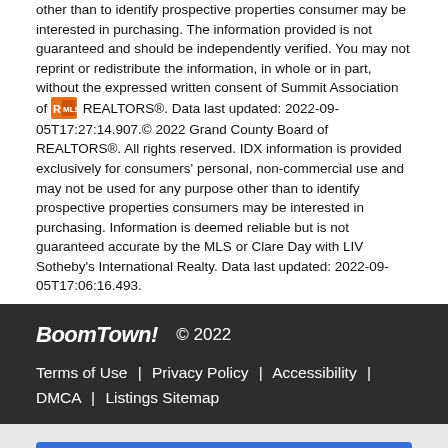other than to identify prospective properties consumer may be interested in purchasing. The information provided is not guaranteed and should be independently verified. You may not reprint or redistribute the information, in whole or in part, without the expressed written consent of Summit Association of REALTORS®. Data last updated: 2022-09-05T17:27:14.907.© 2022 Grand County Board of REALTORS®. All rights reserved. IDX information is provided exclusively for consumers' personal, non-commercial use and may not be used for any purpose other than to identify prospective properties consumers may be interested in purchasing. Information is deemed reliable but is not guaranteed accurate by the MLS or Clare Day with LIV Sotheby's International Realty. Data last updated: 2022-09-05T17:06:16.493.
BoomTown! © 2022 | Terms of Use | Privacy Policy | Accessibility | DMCA | Listings Sitemap
Back to Results